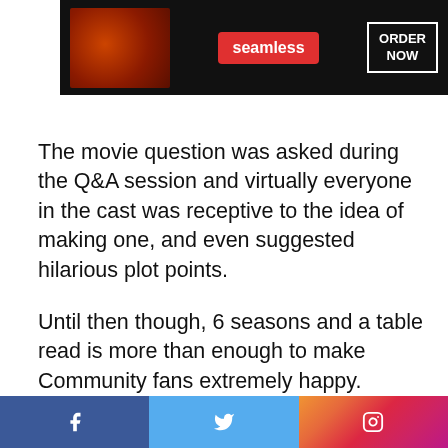[Figure (other): Seamless food delivery advertisement banner with pizza image, red seamless logo, and ORDER NOW button on dark background]
The movie question was asked during the Q&A session and virtually everyone in the cast was receptive to the idea of making one, and even suggested hilarious plot points.
Until then though, 6 seasons and a table read is more than enough to make Community fans extremely happy.
[Figure (other): Facebook Share and Twitter Tweet social sharing buttons]
[Figure (other): Macy's advertisement: KISS BORING LIPS GOODBYE with SHOP NOW button and Macy's logo on dark red background with model photo]
[Figure (other): Social media bar at bottom with Facebook, Twitter, and Instagram icons]